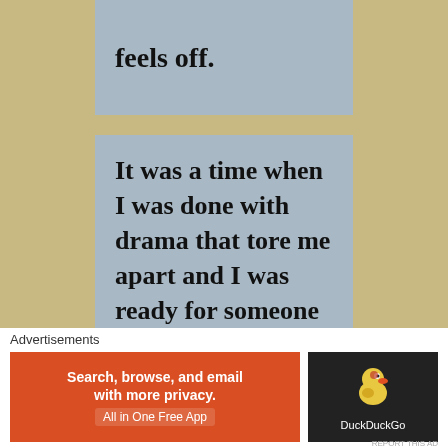feels off.
It was a time when I was done with drama that tore me apart and I was ready for someone nice
Advertisements
[Figure (screenshot): DuckDuckGo advertisement banner: 'Search, browse, and email with more privacy. All in One Free App' with DuckDuckGo logo on dark background]